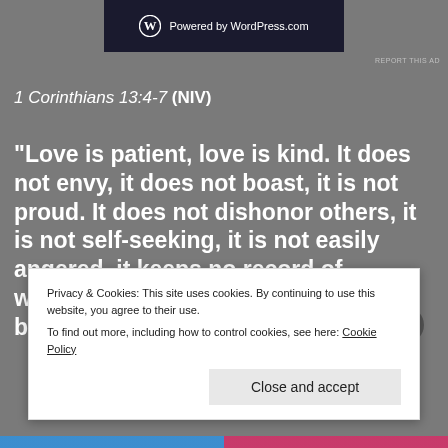[Figure (screenshot): WordPress.com powered banner advertisement in dark navy background with WordPress logo and text 'Powered by WordPress.com']
REPORT THIS AD
1 Corinthians 13:4-7 (NIV)
“Love is patient, love is kind. It does not envy, it does not boast, it is not proud. It does not dishonor others, it is not self-seeking, it is not easily angered, it keeps no record of wrongs. Love does not delight in evil but rejoices with the t... h...
Privacy & Cookies: This site uses cookies. By continuing to use this website, you agree to their use.
To find out more, including how to control cookies, see here: Cookie Policy
Close and accept